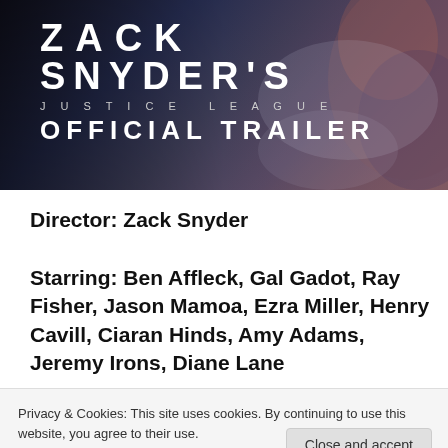[Figure (screenshot): Zack Snyder's Justice League Official Trailer banner image with dark cinematic background]
Director: Zack Snyder
Starring: Ben Affleck, Gal Gadot, Ray Fisher, Jason Mamoa, Ezra Miller, Henry Cavill, Ciaran Hinds, Amy Adams, Jeremy Irons, Diane Lane
[Figure (screenshot): Dark video thumbnail]
Before you can
Privacy & Cookies: This site uses cookies. By continuing to use this website, you agree to their use.
To find out more, including how to control cookies, see here: Cookie Policy
Close and accept
Follow